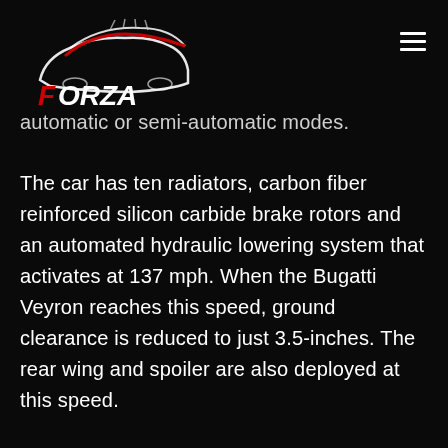[Figure (logo): Forza logo with stylized car silhouette in red and white on black background]
automatic or semi-automatic modes.
The car has ten radiators, carbon fiber reinforced silicon carbide brake rotors and an automated hydraulic lowering system that activates at 137 mph. When the Bugatti Veyron reaches this speed, ground clearance is reduced to just 3.5-inches. The rear wing and spoiler are also deployed at this speed.